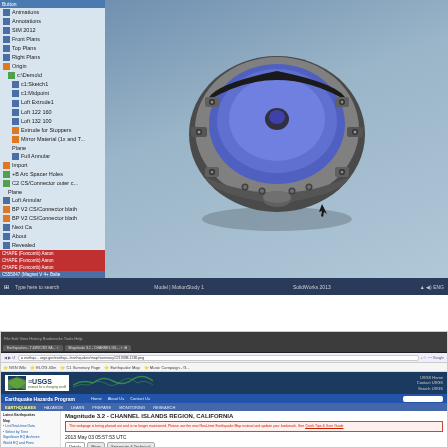[Figure (screenshot): CAD software screenshot showing a 3D model of a circular mechanical assembly (seismometer or sensor housing) with blue disc, black housing, and mounting bolts, displayed in a CAD application with component tree on the left sidebar]
| ID | Date/Time | User |
| --- | --- | --- |
| 8526 | Fri May 3 08:55:55 2013 | Stev |
Attachment 1: 3.2eqChannelIland.png
[Figure (screenshot): Browser screenshot showing USGS Earthquake Hazards Program webpage with Magnitude 3.2 - CHANNEL ISLANDS REGION, CALIFORNIA earthquake details dated 2013 May 03 05:57:53 UTC, with a deprecation warning in red box]